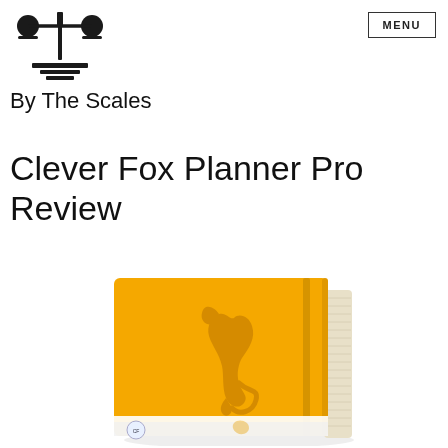[Figure (logo): Balance scales icon / logo for By The Scales website]
MENU
By The Scales
Clever Fox Planner Pro Review
[Figure (photo): Orange/yellow Clever Fox Planner Pro notebook with fox logo embossed on cover, shown at an angle with elastic band closure and white pages visible on the side]